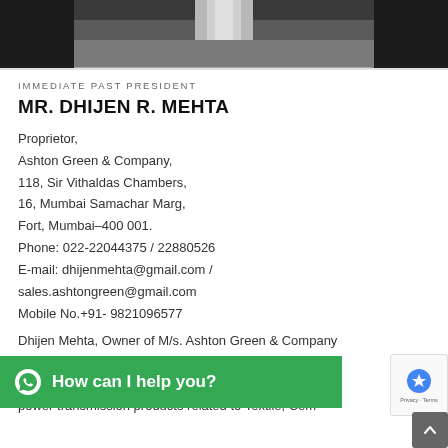[Figure (photo): Photo strip showing bottom portion of a person in formal attire with a tie, dark background]
IMMEDIATE PAST PRESIDENT
MR. DHIJEN R. MEHTA
Proprietor,
Ashton Green & Company,
118, Sir Vithaldas Chambers,
16, Mumbai Samachar Marg,
Fort, Mumbai-400 001.
Phone: 022-22044375 / 22880526
E-mail: dhijenmehta@gmail.com / sales.ashtongreen@gmail.com
Mobile No.+91- 9821096577
Dhijen Mehta, Owner of M/s. Ashton Green & Company manufacturer and exporters of equipment of Effluent Treatment Plant and power transmission products related to Textile, Cement...